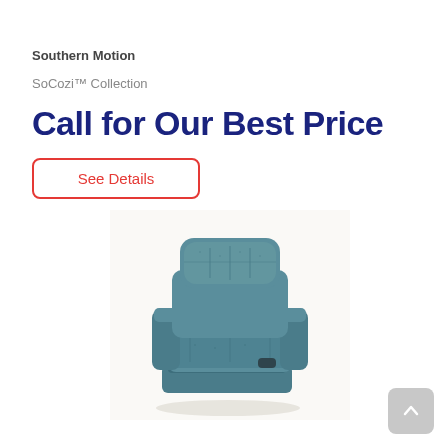Southern Motion
SoCozi™ Collection
Call for Our Best Price
See Details
[Figure (photo): A teal/blue upholstered recliner chair from the Southern Motion SoCozi Collection, shown in a three-quarter front view on a white background.]